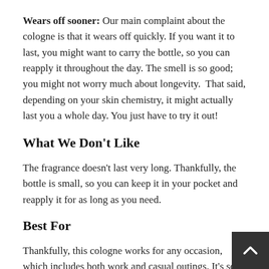Wears off sooner: Our main complaint about the cologne is that it wears off quickly. If you want it to last, you might want to carry the bottle, so you can reapply it throughout the day. The smell is so good; you might not worry much about longevity.  That said, depending on your skin chemistry, it might actually last you a whole day. You just have to try it out!
What We Don't Like
The fragrance doesn't last very long. Thankfully, the bottle is small, so you can keep it in your pocket and reapply it for as long as you need.
Best For
Thankfully, this cologne works for any occasion, which includes both work and casual outings. It's so outstanding and flattering and can be used as everyday wear, for da…